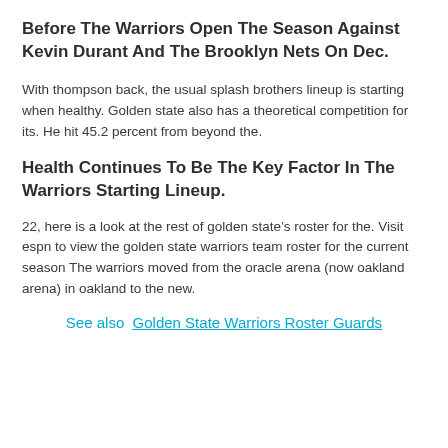Before The Warriors Open The Season Against Kevin Durant And The Brooklyn Nets On Dec.
With thompson back, the usual splash brothers lineup is starting when healthy. Golden state also has a theoretical competition for its. He hit 45.2 percent from beyond the.
Health Continues To Be The Key Factor In The Warriors Starting Lineup.
22, here is a look at the rest of golden state’s roster for the. Visit espn to view the golden state warriors team roster for the current season The warriors moved from the oracle arena (now oakland arena) in oakland to the new.
See also  Golden State Warriors Roster Guards